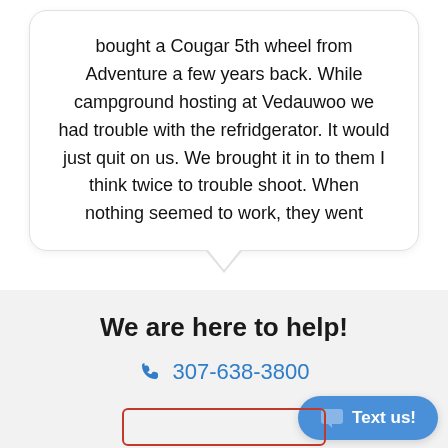bought a Cougar 5th wheel from Adventure a few years back. While campground hosting at Vedauwoo we had trouble with the refridgerator. It would just quit on us. We brought it in to them I think twice to trouble shoot. When nothing seemed to work, they went
Brian
We are here to help!
307-638-3800